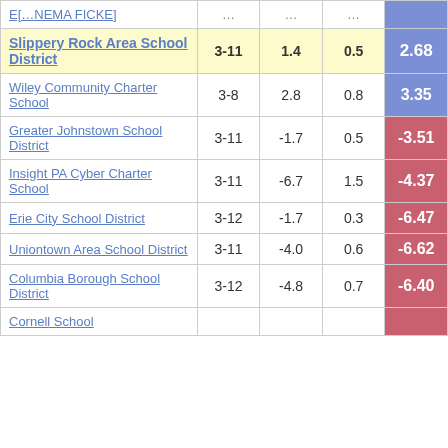| School/District | Grades | Col3 | Col4 | Score |
| --- | --- | --- | --- | --- |
| [truncated top row] | ... | ... | ... | ... |
| Slippery Rock Area School District | 3-11 | 1.4 | 0.5 | 2.68 |
| Wiley Community Charter School | 3-8 | 2.8 | 0.8 | 3.35 |
| Greater Johnstown School District | 3-11 | -1.7 | 0.5 | -3.51 |
| Insight PA Cyber Charter School | 3-11 | -6.7 | 1.5 | -4.37 |
| Erie City School District | 3-12 | -1.7 | 0.3 | -6.47 |
| Uniontown Area School District | 3-11 | -4.0 | 0.6 | -6.62 |
| Columbia Borough School District | 3-12 | -4.8 | 0.7 | -6.40 |
| Cornell School... |  |  |  |  |